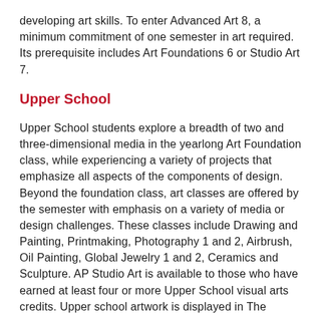developing art skills. To enter Advanced Art 8, a minimum commitment of one semester in art required. Its prerequisite includes Art Foundations 6 or Studio Art 7.
Upper School
Upper School students explore a breadth of two and three-dimensional media in the yearlong Art Foundation class, while experiencing a variety of projects that emphasize all aspects of the components of design. Beyond the foundation class, art classes are offered by the semester with emphasis on a variety of media or design challenges. These classes include Drawing and Painting, Printmaking, Photography 1 and 2, Airbrush, Oil Painting, Global Jewelry 1 and 2, Ceramics and Sculpture. AP Studio Art is available to those who have earned at least four or more Upper School visual arts credits. Upper school artwork is displayed in The Hirschbiel Center for the Arts and in Founders Hall